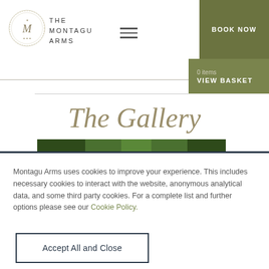THE MONTAGU ARMS
The Gallery
Montagu Arms uses cookies to improve your experience. This includes necessary cookies to interact with the website, anonymous analytical data, and some third party cookies. For a complete list and further options please see our Cookie Policy.
Accept All and Close